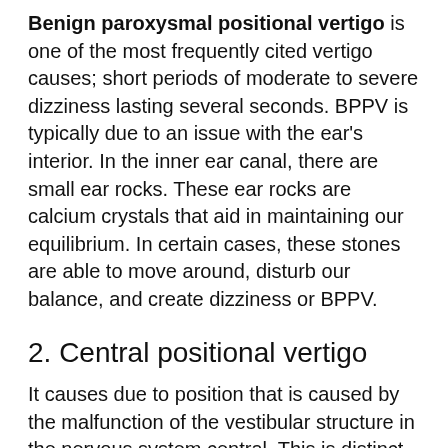Benign paroxysmal positional vertigo is one of the most frequently cited vertigo causes; short periods of moderate to severe dizziness lasting several seconds. BPPV is typically due to an issue with the ear's interior. In the inner ear canal, there are small ear rocks. These ear rocks are calcium crystals that aid in maintaining our equilibrium. In certain cases, these stones are able to move around, disturb our balance, and create dizziness or BPPV.
2. Central positional vertigo
It causes due to position that is caused by the malfunction of the vestibular structure in the nervous system central. This is distinct from BPPV or the dizziness that is